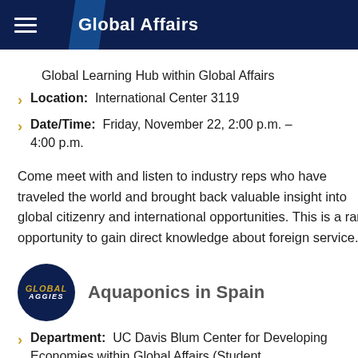Global Affairs
Global Learning Hub within Global Affairs
Location:  International Center 3119
Date/Time:  Friday, November 22, 2:00 p.m. – 4:00 p.m.
Come meet with and listen to industry reps who have traveled the world and brought back valuable insight into global citizenry and international opportunities. This is a rare opportunity to gain direct knowledge about foreign service.
Aquaponics in Spain
Department:  UC Davis Blum Center for Developing Economies within Global Affairs (Student